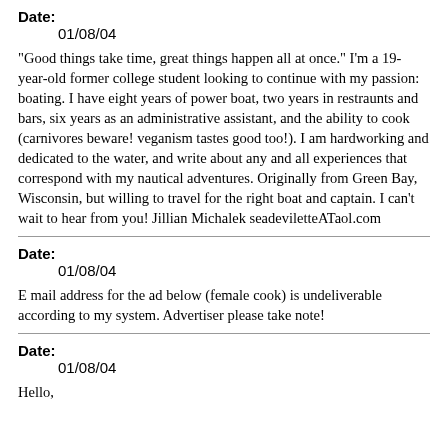Date:
01/08/04
"Good things take time, great things happen all at once." I'm a 19-year-old former college student looking to continue with my passion: boating. I have eight years of power boat, two years in restraunts and bars, six years as an administrative assistant, and the ability to cook (carnivores beware! veganism tastes good too!). I am hardworking and dedicated to the water, and write about any and all experiences that correspond with my nautical adventures. Originally from Green Bay, Wisconsin, but willing to travel for the right boat and captain. I can't wait to hear from you! Jillian Michalek seadeviletteATaol.com
Date:
01/08/04
E mail address for the ad below (female cook) is undeliverable according to my system. Advertiser please take note!
Date:
01/08/04
Hello,